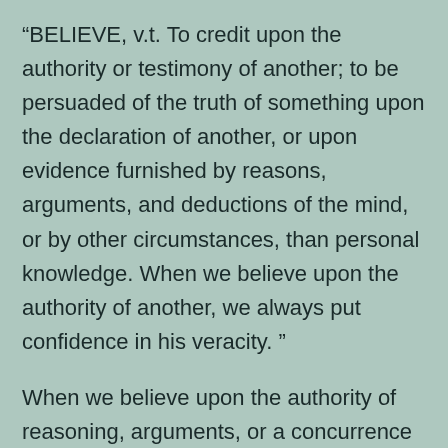“BELIEVE, v.t. To credit upon the authority or testimony of another; to be persuaded of the truth of something upon the declaration of another, or upon evidence furnished by reasons, arguments, and deductions of the mind, or by other circumstances, than personal knowledge. When we believe upon the authority of another, we always put confidence in his veracity. ”
When we believe upon the authority of reasoning, arguments, or a concurrence of facts and circumstances, we rest our conclusions upon their strength or probability,